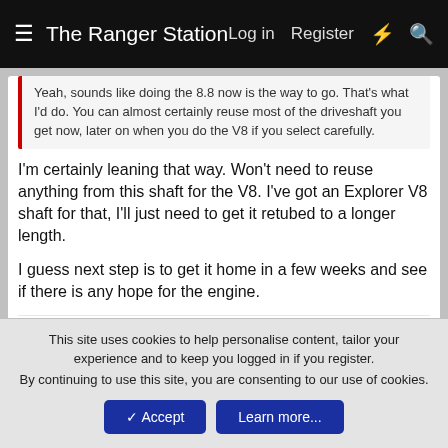The Ranger Station   Log in   Register
Yeah, sounds like doing the 8.8 now is the way to go. That's what I'd do. You can almost certainly reuse most of the driveshaft you get now, later on when you do the V8 if you select carefully.
I'm certainly leaning that way. Won't need to reuse anything from this shaft for the V8. I've got an Explorer V8 shaft for that, I'll just need to get it retubed to a longer length.

I guess next step is to get it home in a few weeks and see if there is any hope for the engine.
Shran and ericbphoto
1 of 2   Next ▶   ▶▶
This site uses cookies to help personalise content, tailor your experience and to keep you logged in if you register.
By continuing to use this site, you are consenting to our use of cookies.